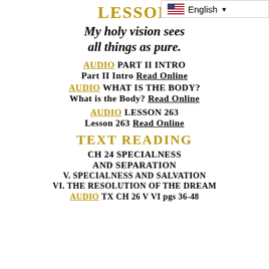English (language selector bar)
LESSON
My holy vision sees all things as pure.
AUDIO PART II INTRO
Part II Intro Read Online
AUDIO WHAT IS THE BODY?
What is the Body? Read Online
AUDIO LESSON 263
Lesson 263 Read Online
TEXT READING
CH 24 SPECIALNESS AND SEPARATION
V. SPECIALNESS AND SALVATION
VI. THE RESOLUTION OF THE DREAM
AUDIO TX CH 26 V VI pgs 36-48